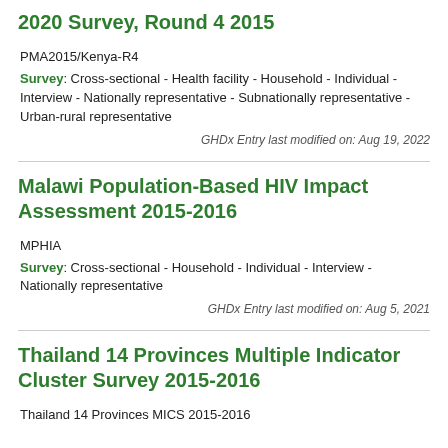2020 Survey, Round 4 2015
PMA2015/Kenya-R4
Survey: Cross-sectional - Health facility - Household - Individual - Interview - Nationally representative - Subnationally representative - Urban-rural representative
GHDx Entry last modified on: Aug 19, 2022
Malawi Population-Based HIV Impact Assessment 2015-2016
MPHIA
Survey: Cross-sectional - Household - Individual - Interview - Nationally representative
GHDx Entry last modified on: Aug 5, 2021
Thailand 14 Provinces Multiple Indicator Cluster Survey 2015-2016
Thailand 14 Provinces MICS 2015-2016